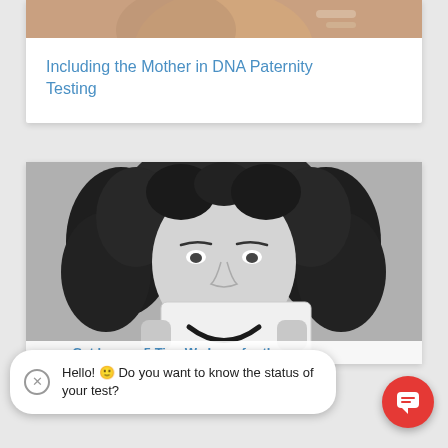[Figure (photo): Top portion of a photo showing a baby or person with warm tones, partially cropped at top]
Including the Mother in DNA Paternity Testing
[Figure (photo): Black and white photo of a woman with curly hair holding up a card showing a drawn smile emoji in front of her mouth]
Hello! 🙂 Do you want to know the status of your test?
mom, Get happy: 5 Tips We Love for the